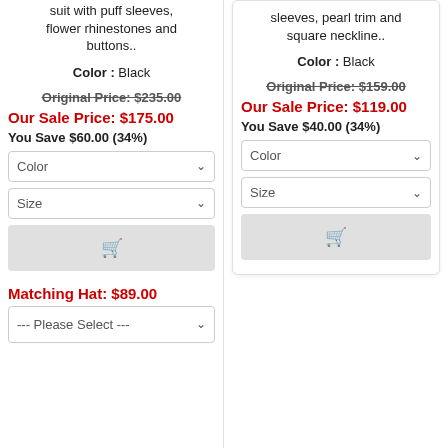suit with puff sleeves, flower rhinestones and buttons..
Color : Black
Original Price: $235.00
Our Sale Price: $175.00
You Save $60.00 (34%)
Color [dropdown]
Size [dropdown]
[Figure (other): Add to cart button with shopping cart icon]
Matching Hat: $89.00
--- Please Select --- [dropdown]
sleeves, pearl trim and square neckline..
Color : Black
Original Price: $159.00
Our Sale Price: $119.00
You Save $40.00 (34%)
Color [dropdown]
Size [dropdown]
[Figure (other): Add to cart button with shopping cart icon]